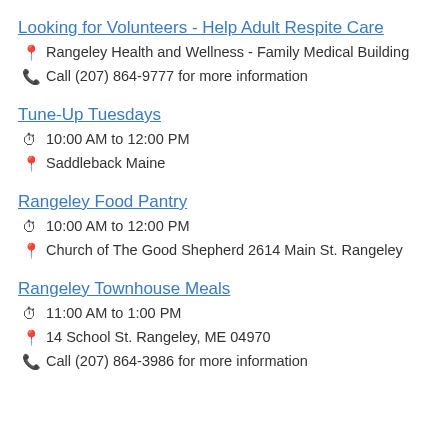Looking for Volunteers - Help Adult Respite Care
Rangeley Health and Wellness - Family Medical Building
Call (207) 864-9777 for more information
Tune-Up Tuesdays
10:00 AM to 12:00 PM
Saddleback Maine
Rangeley Food Pantry
10:00 AM to 12:00 PM
Church of The Good Shepherd 2614 Main St. Rangeley
Rangeley Townhouse Meals
11:00 AM to 1:00 PM
14 School St. Rangeley, ME 04970
Call (207) 864-3986 for more information